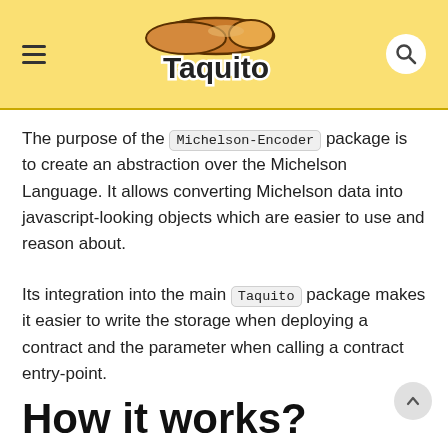Taquito
The purpose of the Michelson-Encoder package is to create an abstraction over the Michelson Language. It allows converting Michelson data into javascript-looking objects which are easier to use and reason about.
Its integration into the main Taquito package makes it easier to write the storage when deploying a contract and the parameter when calling a contract entry-point.
How it works?